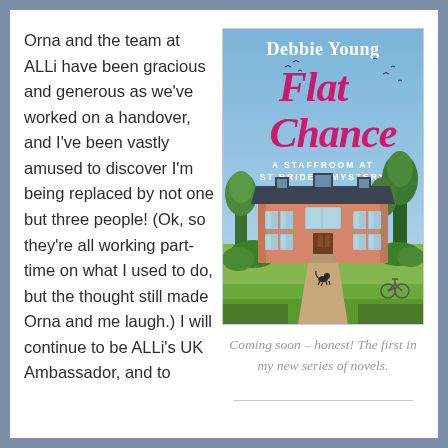Orna and the team at ALLi have been gracious and generous as we've worked on a handover, and I've been vastly amused to discover I'm being replaced by not one but three people! (Ok, so they're all working part-time on what I used to do, but the thought still made Orna and me laugh.) I will continue to be ALLi's UK Ambassador, and to
[Figure (illustration): Book cover for 'Flat Chance – A Staffroom at St Bride's Mystery' by Debbie Young, showing a large French-style manor house with gardens, a driveway, bicycles, and birds in the sky.]
Coming soon – honest! The first in my new series of novels.